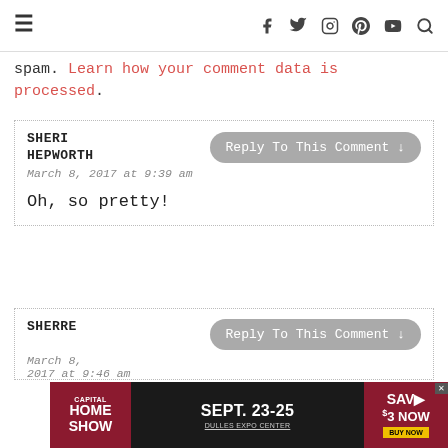≡ [navigation icons: facebook, twitter, instagram, pinterest, youtube, search]
spam. Learn how your comment data is processed.
SHERI HEPWORTH
March 8, 2017 at 9:39 am

Oh, so pretty!
SHERRE
March 8, 2017 at 9:46 am
[Figure (infographic): Capital Home Show advertisement banner. SEPT. 23-25 DULLES EXPO CENTER. SAV $3 NOW BUY NOW.]